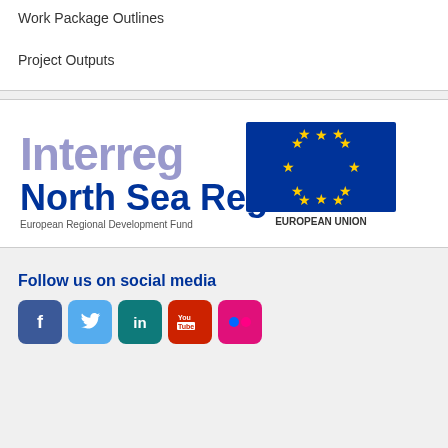Work Package Outlines
Project Outputs
[Figure (logo): Interreg North Sea Region — European Regional Development Fund logo alongside European Union flag logo]
Follow us on social media
[Figure (infographic): Row of social media icon buttons: Facebook, Twitter, LinkedIn, YouTube, Flickr]